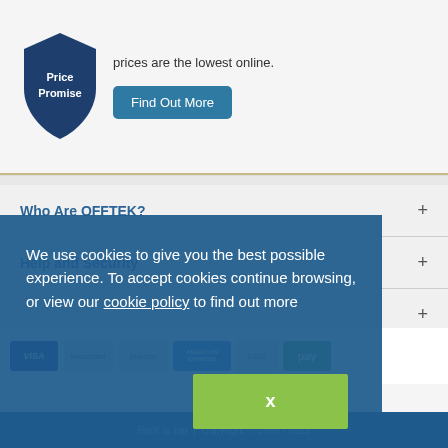[Figure (illustration): Price Promise badge/seal in dark blue shield shape with white text]
prices are the lowest online.
Find Out More
Who Are OFFTEK?
Help and Security
We use cookies to give you the best possible experience. To accept cookies continue browsing, or view our [cookie policy] to find out more
x
[Figure (logo): Payment method logos: Visa, Mastercard, Maestro, American Express, Sage, Google Pay, PayPal]
Back to top | Copyright © 1999 - 2022